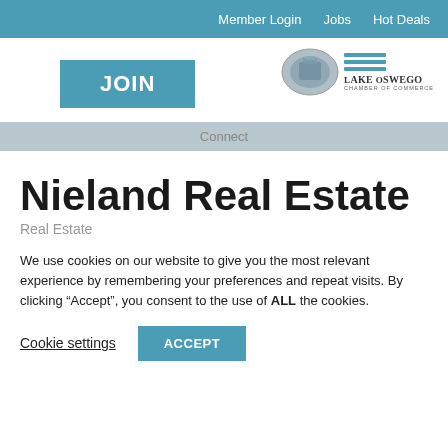Member Login   Jobs   Hot Deals
[Figure (screenshot): JOIN button in teal and Lake Oswego Chamber of Commerce logo with oval image and horizontal teal lines]
Connect
Nieland Real Estate
Real Estate
We use cookies on our website to give you the most relevant experience by remembering your preferences and repeat visits. By clicking “Accept”, you consent to the use of ALL the cookies.
Cookie settings   ACCEPT